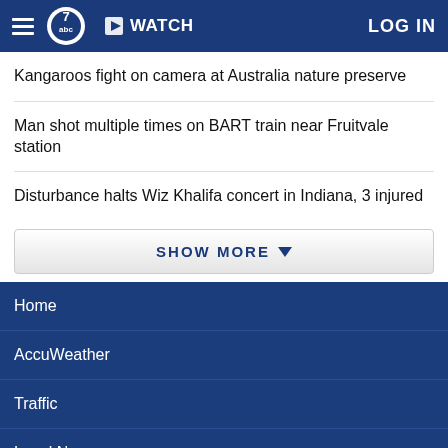ABC7 WATCH LOG IN
Kangaroos fight on camera at Australia nature preserve
Man shot multiple times on BART train near Fruitvale station
Disturbance halts Wiz Khalifa concert in Indiana, 3 injured
SHOW MORE
Home
AccuWeather
Traffic
Local News
Categories
Station Info
Shows
Apps